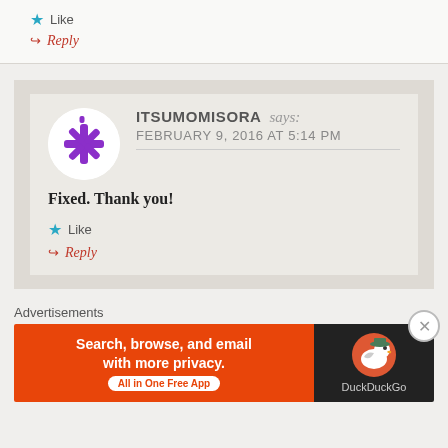★ Like
↪ Reply
ITSUMOMISORA says: FEBRUARY 9, 2016 AT 5:14 PM
Fixed. Thank you!
★ Like
↪ Reply
Advertisements
[Figure (screenshot): DuckDuckGo ad banner: orange left side with text 'Search, browse, and email with more privacy. All in One Free App' and dark right side with DuckDuckGo logo]